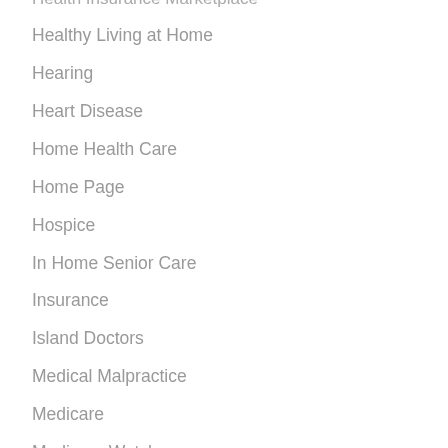Health Insurance Marketplace
Healthy Living at Home
Hearing
Heart Disease
Home Health Care
Home Page
Hospice
In Home Senior Care
Insurance
Island Doctors
Medical Malpractice
Medicare
Medicare Watch
Natural Medicine